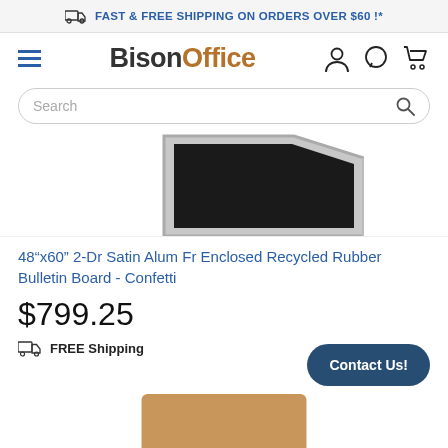FAST & FREE SHIPPING ON ORDERS OVER $60 !*
BisonOffice
Search
[Figure (photo): Partial view of a bulletin board product shown from an angle, silver/aluminum frame, dark surface visible at top of product area]
48”x60" 2-Dr Satin Alum Fr Enclosed Recycled Rubber Bulletin Board - Confetti
$799.25
FREE Shipping
Contact Us!
[Figure (photo): Bottom strip showing another product in tan/cork color]